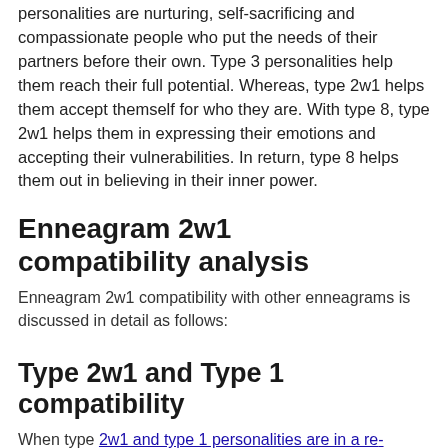personalities are nurturing, self-sacrificing and compassionate people who put the needs of their partners before their own. Type 3 personalities help them reach their full potential. Whereas, type 2w1 helps them accept themself for who they are. With type 8, type 2w1 helps them in expressing their emotions and accepting their vulnerabilities. In return, type 8 helps them out in believing in their inner power.
Enneagram 2w1 compatibility analysis
Enneagram 2w1 compatibility with other enneagrams is discussed in detail as follows:
Type 2w1 and Type 1 compatibility
When type 2w1 and type 1 personalities are in a relationship, it is often a good combination because type 1 contributes reliability to the relationship